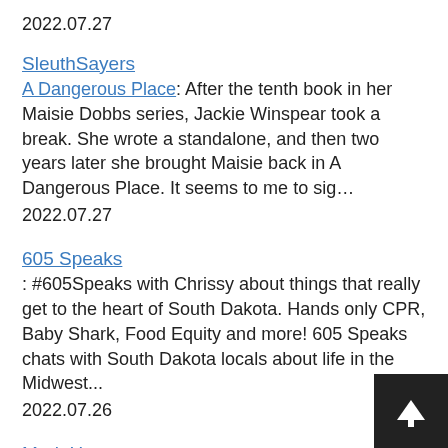2022.07.27
SleuthSayers
A Dangerous Place:    After the tenth book in her Maisie Dobbs series, Jackie Winspear took a break.  She wrote a standalone, and then two years later she brought Maisie back in A Dangerous Place.  It seems to me to sig…
2022.07.27
605 Speaks
: #605Speaks with Chrissy about things that really get to the heart of South Dakota. Hands only CPR, Baby Shark, Food Equity and more! 605 Speaks chats with South Dakota locals about life in the Midwest...
2022.07.26
Mark Haugen